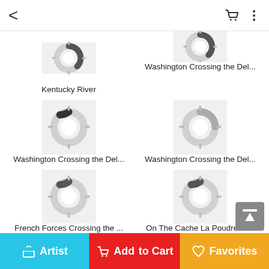< [back] [cart] [menu]
[Figure (screenshot): Mobile app grid of artwork thumbnails showing loading spinner icons and artwork titles. Items: Kentucky River, Washington Crossing the Del..., Washington Crossing the Del..., Washington Crossing the Del..., French Forces Crossing the ..., On The Cache La Poudre Ri..., A Shepherd And His Herd Cr..., Crossing The River, Rondel Depicting Holofernes'..., By the River at Vernon]
Artist | Add to Cart | Favorites